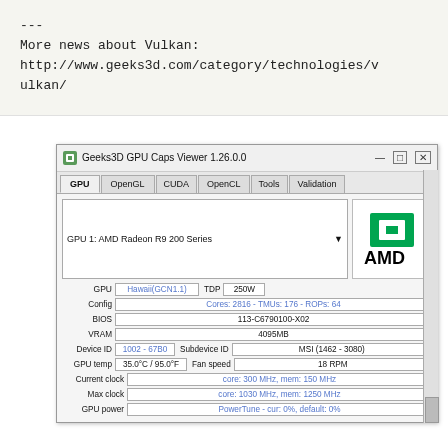---
More news about Vulkan:
http://www.geeks3d.com/category/technologies/vulkan/
[Figure (screenshot): Geeks3D GPU Caps Viewer 1.26.0.0 application window showing GPU tab with AMD Radeon R9 200 Series (Hawaii GCN1.1), TDP 250W, Cores: 2816 - TMUs: 176 - ROPs: 64, BIOS 113-C6790100-X02, VRAM 4095MB, Device ID 1002-67B0, Subdevice ID MSI (1462-3080), GPU temp 35.0°C/95.0°F, Fan speed 18 RPM, Current clock core: 300 MHz mem: 150 MHz, Max clock core: 1030 MHz mem: 1250 MHz, GPU power PowerTune - cur: 0%, default: 0%]